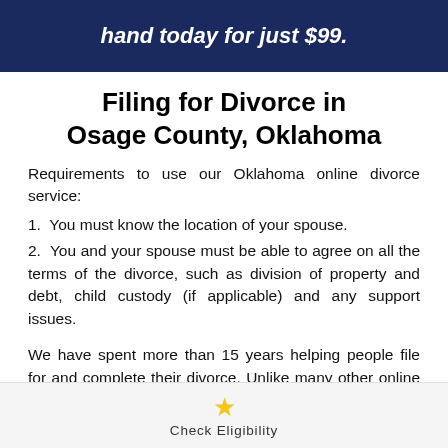hand today for just $99.
Filing for Divorce in Osage County, Oklahoma
Requirements to use our Oklahoma online divorce service:
1. You must know the location of your spouse.
2. You and your spouse must be able to agree on all the terms of the divorce, such as division of property and debt, child custody (if applicable) and any support issues.
We have spent more than 15 years helping people file for and complete their divorce. Unlike many other online divorce services, our services don't end once you file your initial divorce papers. We also want to make
Check Eligibility